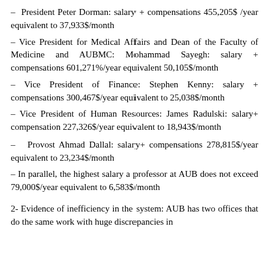– President Peter Dorman: salary + compensations 455,205$ /year equivalent to 37,933$/month
– Vice President for Medical Affairs and Dean of the Faculty of Medicine and AUBMC: Mohammad Sayegh: salary + compensations 601,271%/year equivalent 50,105$/month
– Vice President of Finance: Stephen Kenny: salary + compensations 300,467$/year equivalent to 25,038$/month
– Vice President of Human Resources: James Radulski: salary+ compensation 227,326$/year equivalent to 18,943$/month
– Provost Ahmad Dallal: salary+ compensations 278,815$/year equivalent to 23,234$/month
– In parallel, the highest salary a professor at AUB does not exceed 79,000$/year equivalent to 6,583$/month
2- Evidence of inefficiency in the system: AUB has two offices that do the same work with huge discrepancies in